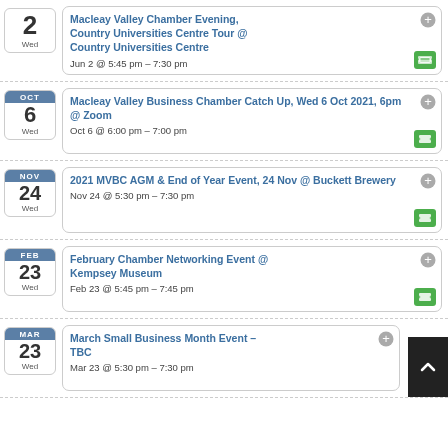Macleay Valley Chamber Evening, Country Universities Centre Tour @ Country Universities Centre – Jun 2 @ 5:45 pm – 7:30 pm
Macleay Valley Business Chamber Catch Up, Wed 6 Oct 2021, 6pm @ Zoom – Oct 6 @ 6:00 pm – 7:00 pm
2021 MVBC AGM & End of Year Event, 24 Nov @ Buckett Brewery – Nov 24 @ 5:30 pm – 7:30 pm
February Chamber Networking Event @ Kempsey Museum – Feb 23 @ 5:45 pm – 7:45 pm
March Small Business Month Event – TBC – Mar 23 @ 5:30 pm – 7:30 pm